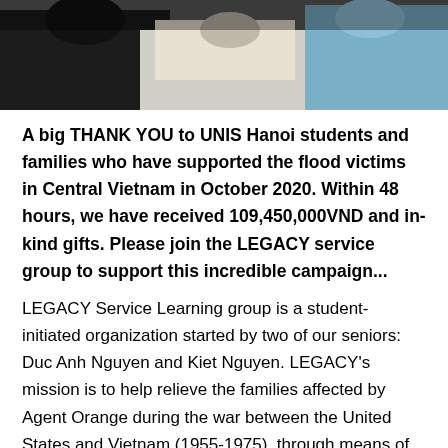[Figure (photo): Photo of people at a donation/charity event, partially cropped at the top of the page]
A big THANK YOU to UNIS Hanoi students and families who have supported the flood victims in Central Vietnam in October 2020. Within 48 hours, we have received 109,450,000VND and in-kind gifts. Please join the LEGACY service group to support this incredible campaign...
LEGACY Service Learning group is a student-initiated organization started by two of our seniors: Duc Anh Nguyen and Kiet Nguyen. LEGACY’s mission is to help relieve the families affected by Agent Orange during the war between the United States and Vietnam (1955-1975), through means of raising awareness in the Hanoi